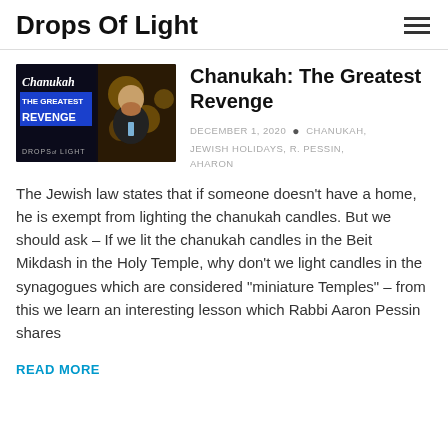Drops Of Light
[Figure (photo): Thumbnail image showing a dark background with neon text 'Chanukah THE GREATEST REVENGE' and a man with a beard in a suit, labeled 'DROPS of LIGHT' at the bottom.]
Chanukah: The Greatest Revenge
DECEMBER 1, 2020 • CHANUKAH, JEWISH HOLIDAYS, R. PESSIN, AHARON
The Jewish law states that if someone doesn't have a home, he is exempt from lighting the chanukah candles. But we should ask – If we lit the chanukah candles in the Beit Mikdash in the Holy Temple, why don't we light candles in the synagogues which are considered "miniature Temples" – from this we learn an interesting lesson which Rabbi Aaron Pessin shares
READ MORE